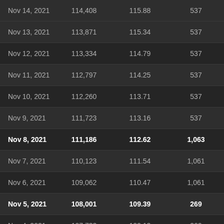| Nov 14, 2021 | 114,408 | 115.88 | 537 |
| Nov 13, 2021 | 113,871 | 115.34 | 537 |
| Nov 12, 2021 | 113,334 | 114.79 | 537 |
| Nov 11, 2021 | 112,797 | 114.25 | 537 |
| Nov 10, 2021 | 112,260 | 113.71 | 537 |
| Nov 9, 2021 | 111,723 | 113.16 | 537 |
| Nov 8, 2021 | 111,186 | 112.62 | 1,063 |
| Nov 7, 2021 | 110,123 | 111.54 | 1,061 |
| Nov 6, 2021 | 109,062 | 110.47 | 1,061 |
| Nov 5, 2021 | 108,001 | 109.39 | 269 |
| Nov 4, 2021 | 107,732 | 109.12 | 269 |